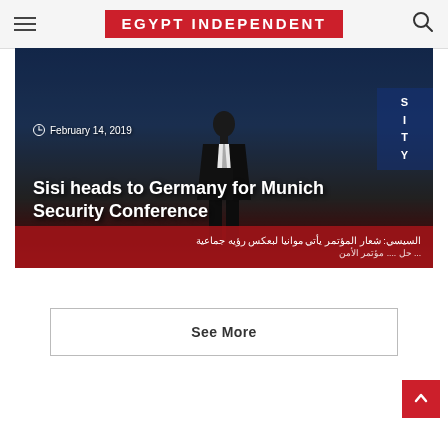EGYPT INDEPENDENT
[Figure (photo): News article hero image showing a person in a dark suit at a podium, with Arabic text banner at the bottom, overlaid with date and article title.]
February 14, 2019
Sisi heads to Germany for Munich Security Conference
See More